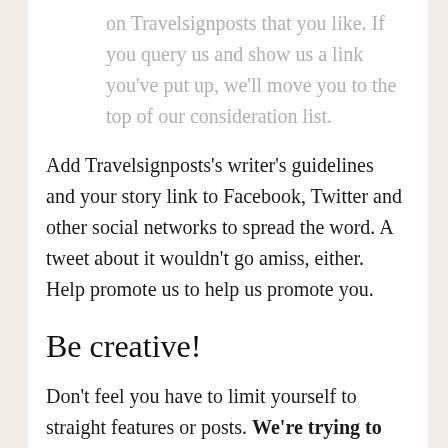on Travelsignposts that you like. If you query us and show us a link you've put up, we'll move you to the top of our consideration list.
Add Travelsignposts's writer's guidelines and your story link to Facebook, Twitter and other social networks to spread the word. A tweet about it wouldn't go amiss, either. Help promote us to help us promote you.
Be creative!
Don't feel you have to limit yourself to straight features or posts. We're trying to break out of the conventional travel site straightjacket, so be creative. Shoot a one-minute video to